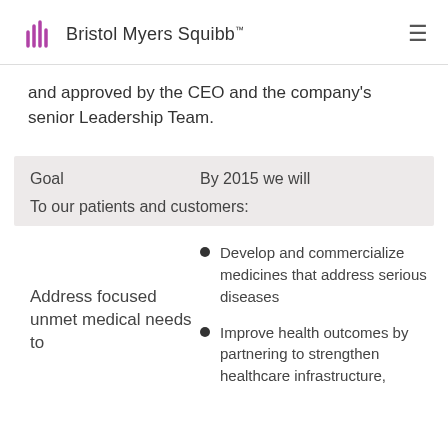Bristol Myers Squibb
and approved by the CEO and the company's senior Leadership Team.
| Goal | By 2015 we will |
| --- | --- |
| To our patients and customers: |  |
| Address focused unmet medical needs to | Develop and commercialize medicines that address serious diseases
Improve health outcomes by partnering to strengthen healthcare infrastructure, |
Develop and commercialize medicines that address serious diseases
Improve health outcomes by partnering to strengthen healthcare infrastructure,